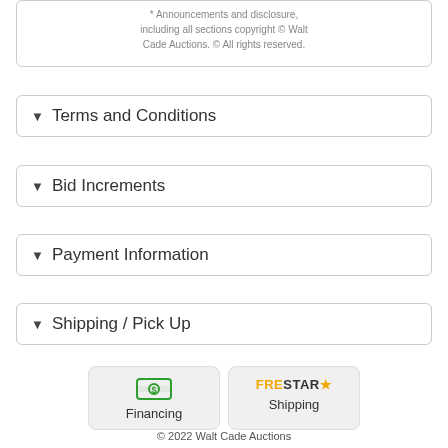* Announcements and disclosure, including all sections copyright © Walt Cade Auctions. © All rights reserved.
Terms and Conditions
Bid Increments
Payment Information
Shipping / Pick Up
[Figure (logo): Financing button with dollar bill icon and label 'Financing']
[Figure (logo): FreStar Shipping button with FreStar star logo and label 'Shipping']
© 2022 Walt Cade Auctions